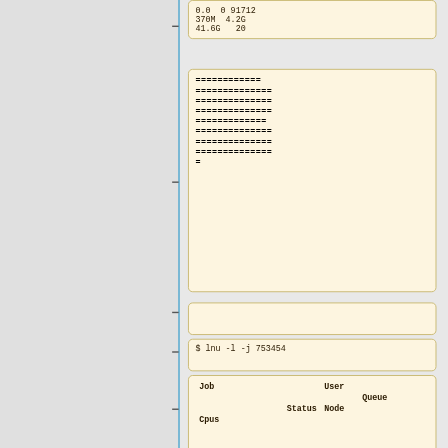0.0  0 91712
370M  4.2G
41.6G   20
============
==============
==============
==============
=============
==============
==============
==============
=
$ lnu -l -j 753454
| Job | User | Queue | Status | Node | Cpus |
| --- | --- | --- | --- | --- | --- |
753454